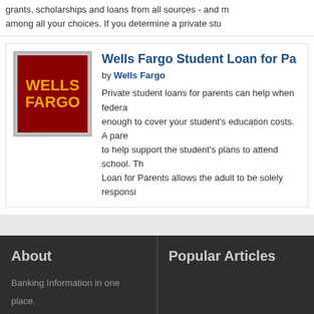grants, scholarships and loans from all sources - and m among all your choices. If you determine a private stu
Wells Fargo Student Loan for Pa
by Wells Fargo
[Figure (logo): Wells Fargo logo — dark red background with gold bold text reading WELLS FARGO]
Private student loans for parents can help when federa enough to cover your student's education costs. A pare to help support the student's plans to attend school. Th Loan for Parents allows the adult to be solely responsi
About
Popular Articles
Banking Information in one place. Know more about banking sector in United States of America and offering by banks. Also a good place for those who plans to build